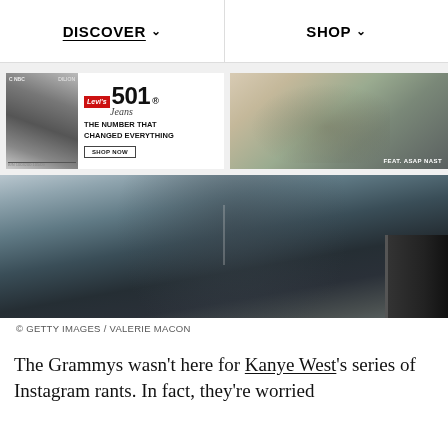DISCOVER   SHOP
[Figure (photo): Left: Levi's 501 Jeans advertisement with black-and-white mugshot photo and text 'THE NUMBER THAT CHANGED EVERYTHING' with SHOP NOW button. Right: Color photo of ASAP Nast lounging in Levi's jeans with 'FEAT. ASAP NAST' label.]
[Figure (photo): Large photo of a person in dark clothing near a car door, shot from behind/side angle.]
© GETTY IMAGES / VALERIE MACON
The Grammys wasn't here for Kanye West's series of Instagram rants. In fact, they're worried